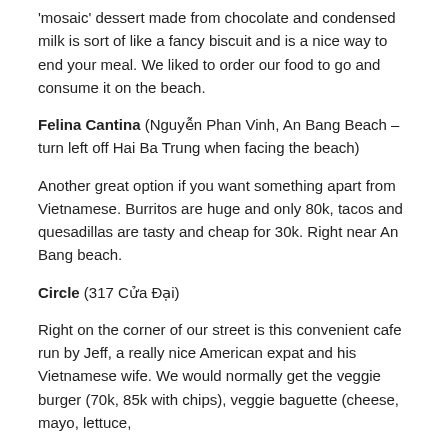'mosaic' dessert made from chocolate and condensed milk is sort of like a fancy biscuit and is a nice way to end your meal. We liked to order our food to go and consume it on the beach.
Felina Cantina (Nguyễn Phan Vinh, An Bang Beach – turn left off Hai Ba Trung when facing the beach)
Another great option if you want something apart from Vietnamese. Burritos are huge and only 80k, tacos and quesadillas are tasty and cheap for 30k. Right near An Bang beach.
Circle (317 Cửa Đại)
Right on the corner of our street is this convenient cafe run by Jeff, a really nice American expat and his Vietnamese wife. We would normally get the veggie burger (70k, 85k with chips), veggie baguette (cheese, mayo, lettuce,